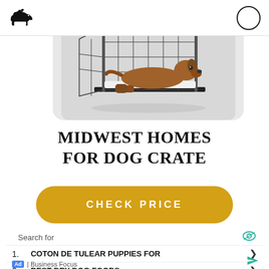Dog icon header with circle button
[Figure (photo): A large dog crate (wire mesh, open front panel) with a brown dog resting inside on a white pad, on a light gray background.]
MIDWEST HOMES FOR DOG CRATE
CHECK PRICE
Search for
1. COTON DE TULEAR PUPPIES FOR
2. BEST DRY DOG FOODS
Ad | Business Focus